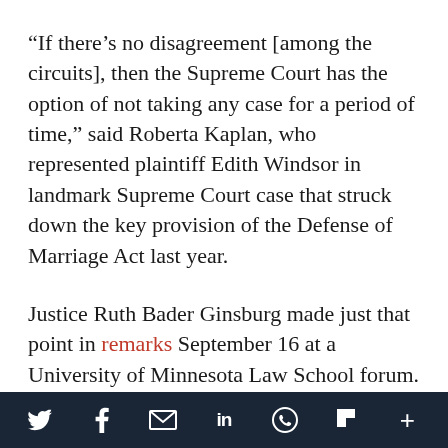“If there’s no disagreement [among the circuits], then the Supreme Court has the option of not taking any case for a period of time,” said Roberta Kaplan, who represented plaintiff Edith Windsor in landmark Supreme Court case that struck down the key provision of the Defense of Marriage Act last year.
Justice Ruth Bader Ginsburg made just that point in remarks September 16 at a University of Minnesota Law School forum. Her host asked Ginsburg to comment generally on marriage equality cases before the high court and discuss whether she
[social share icons: Twitter, Facebook, Email, LinkedIn, WhatsApp, Flipboard, More]